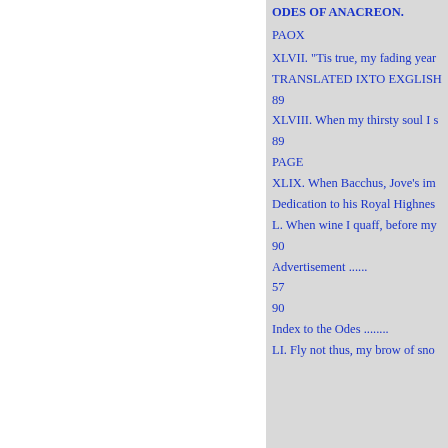ODES OF ANACREON.
PAOX
XLVII. "Tis true, my fading year
TRANSLATED IXTO EXGLISH
89
XLVIII. When my thirsty soul I s
89
PAGE
XLIX. When Bacchus, Jove's im
Dedication to his Royal Highnes
L. When wine I quaff, before my
90
Advertisement .......
57
90
Index to the Odes ........
LI. Fly not thus, my brow of sno